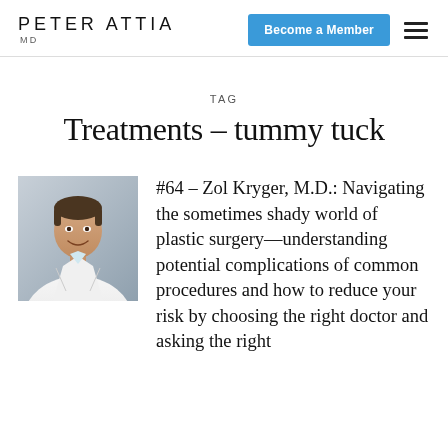PETER ATTIA MD | Become a Member
TAG
Treatments – tummy tuck
[Figure (photo): Photo of a man in a white doctor's coat, smiling, against a light gray background]
#64 – Zol Kryger, M.D.: Navigating the sometimes shady world of plastic surgery—understanding potential complications of common procedures and how to reduce your risk by choosing the right doctor and asking the right